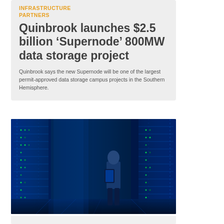INFRASTRUCTURE PARTNERS
Quinbrook launches $2.5 billion ‘Supernode’ 800MW data storage project
Quinbrook says the new Supernode will be one of the largest permit-approved data storage campus projects in the Southern Hemisphere.
[Figure (photo): Person standing in a data center corridor, illuminated by blue lights from server racks, holding a tablet device. The corridor shows rows of servers with blue and green indicator lights.]